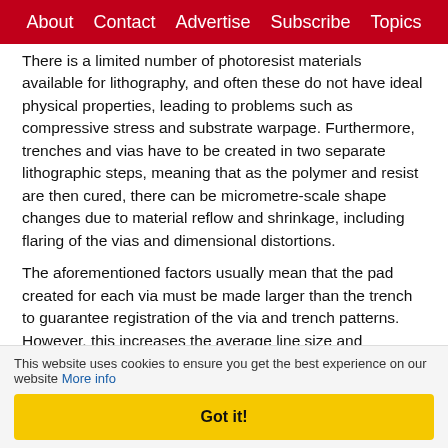About   Contact   Advertise   Subscribe   Topics
There is a limited number of photoresist materials available for lithography, and often these do not have ideal physical properties, leading to problems such as compressive stress and substrate warpage. Furthermore, trenches and vias have to be created in two separate lithographic steps, meaning that as the polymer and resist are then cured, there can be micrometre-scale shape changes due to material reflow and shrinkage, including flaring of the vias and dimensional distortions.
The aforementioned factors usually mean that the pad created for each via must be made larger than the trench to guarantee registration of the via and trench patterns. However, this increases the average line size and sacrifices usable surface area.
Excimer laser process
Whereas lithography involves photographic exposure of a
This website uses cookies to ensure you get the best experience on our website More info
Got it!